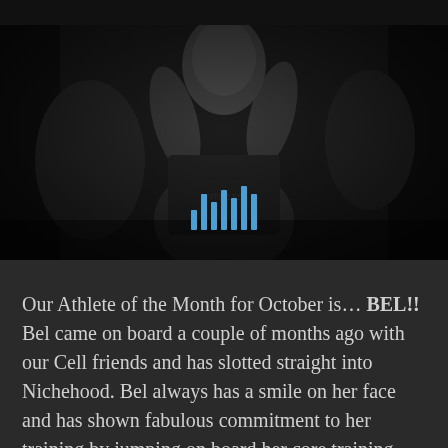[Figure (photo): Dark black-and-white photo of a person (athlete) with arms raised, in a gym setting. A blue audio/video waveform/play bar icon overlay is visible at the bottom center of the image.]
Our Athlete of the Month for October is… BEL!! Bel came on board a couple of months ago with our Cell friends and has slotted straight into Nichehood. Bel always has a smile on her face and has shown fabulous commitment to her training by jumping on board her core training (you know nothing makes